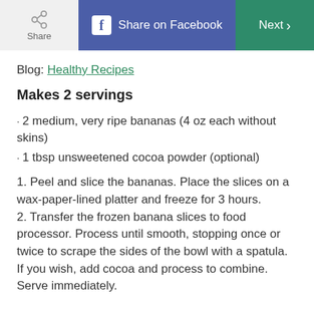Share | Share on Facebook | Next
Blog: Healthy Recipes
Makes 2 servings
2 medium, very ripe bananas (4 oz each without skins)
1 tbsp unsweetened cocoa powder (optional)
1. Peel and slice the bananas. Place the slices on a wax-paper-lined platter and freeze for 3 hours. 2. Transfer the frozen banana slices to food processor. Process until smooth, stopping once or twice to scrape the sides of the bowl with a spatula. If you wish, add cocoa and process to combine. Serve immediately.